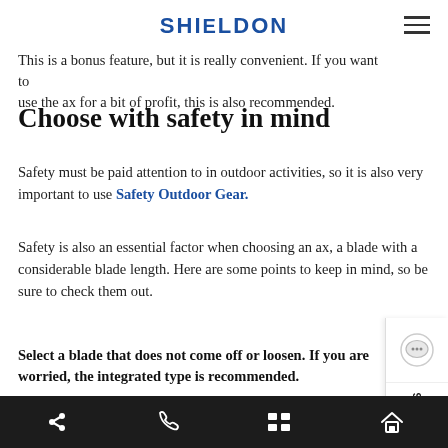SHIELDON
with an ax +1, such as a hatchet wrench, line cutter, and bottle opener. This is a bonus feature, but it is really convenient. If you want to use the ax for a bit of profit, this is also recommended.
Choose with safety in mind
Safety must be paid attention to in outdoor activities, so it is also very important to use Safety Outdoor Gear.
Safety is also an essential factor when choosing an ax, a blade with a considerable blade length. Here are some points to keep in mind, so be sure to check them out.
Select a blade that does not come off or loosen. If you are worried, the integrated type is recommended.
[Figure (photo): Photo of a wooden surface with concentric circles (tree rings or archery target), with a hand visible at the bottom.]
Navigation bar with share, phone, list, and home icons